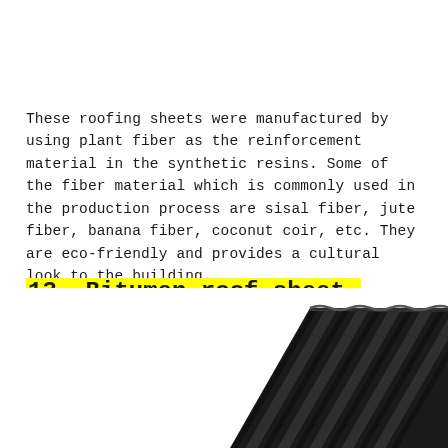These roofing sheets were manufactured by using plant fiber as the reinforcement material in the synthetic resins. Some of the fiber material which is commonly used in the production process are sisal fiber, jute fiber, banana fiber, coconut coir, etc. They are eco-friendly and provides a cultural look to the building.
13. Bitumen roof sheet.
[Figure (photo): Dark corrugated bitumen roofing sheets shown at an angle, with parallel ridged pattern visible, photographed in black/dark color.]